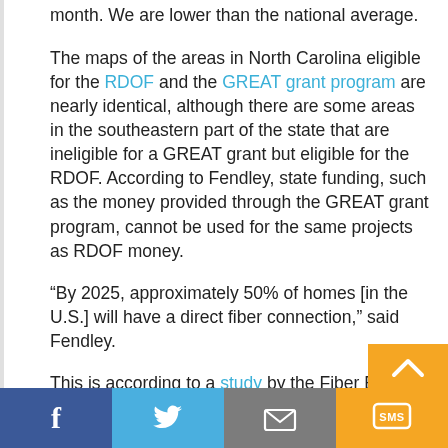month.  We are lower than the national average.
The maps of the areas in North Carolina eligible for the RDOF and the GREAT grant program are nearly identical, although there are some areas in the southeastern part of the state that are ineligible for a GREAT grant but eligible for the RDOF. According to Fendley, state funding, such as the money provided through the GREAT grant program, cannot be used for the same projects as RDOF money.
“By 2025, approximately 50% of homes [in the U.S.] will have a direct fiber connection,” said Fendley.
This is according to a study by the Fiber Broa…d
f  [Twitter icon]  [Mail icon]  SMS